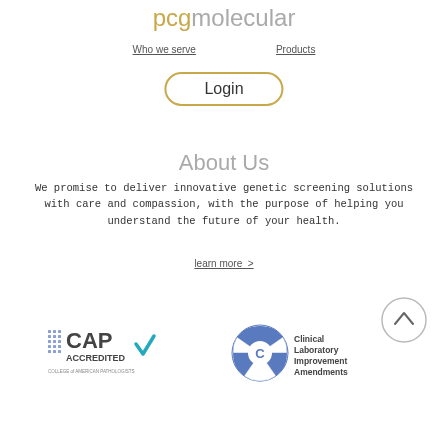pcgmolecular
Who we serve   Products
Login
About Us
We promise to deliver innovative genetic screening solutions with care and compassion, with the purpose of helping you understand the future of your health.
learn more >
[Figure (other): Scroll to top button — circle with upward chevron arrow]
[Figure (logo): CAP Accredited — College of American Pathologists logo with checkmark]
[Figure (logo): CLIA — Clinical Laboratory Improvement Amendments circular logo]